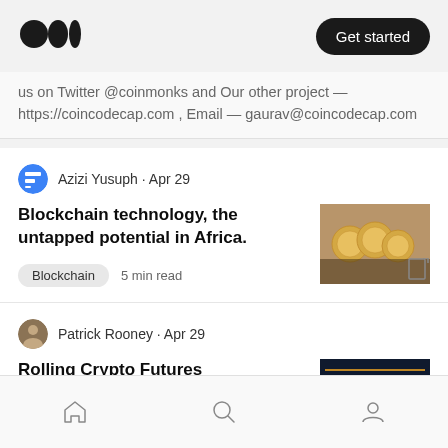[Figure (logo): Medium logo — three circles]
Get started
us on Twitter @coinmonks and Our other project — https://coincodecap.com , Email — gaurav@coincodecap.com
Azizi Yusuph · Apr 29
Blockchain technology, the untapped potential in Africa.
[Figure (photo): Gold coins on dark background]
Blockchain   5 min read
Patrick Rooney · Apr 29
Rolling Crypto Futures
[Figure (photo): Dark crypto trading screen]
Bitcoin   2 min read